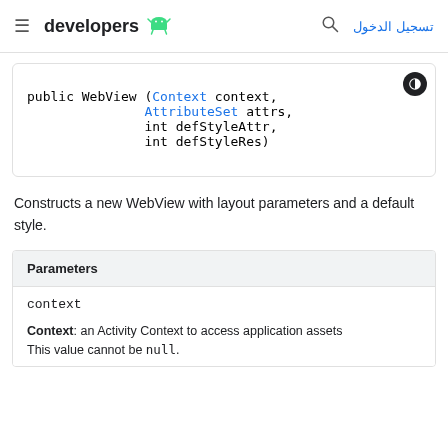≡ developers [android logo] تسجيل الدخول [search icon]
Constructs a new WebView with layout parameters and a default style.
| Parameters |
| --- |
| context | Context: an Activity Context to access application assets
This value cannot be null. |
Context: an Activity Context to access application assets This value cannot be null.